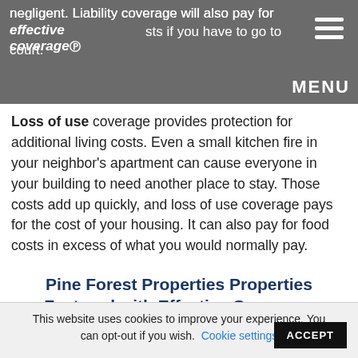negligent. Liability coverage will also pay for your legal costs if you have to go to court.
Loss of use coverage provides protection for additional living costs. Even a small kitchen fire in your neighbor's apartment can cause everyone in your building to need another place to stay. Those costs add up quickly, and loss of use coverage pays for the cost of your housing. It can also pay for food costs in excess of what you would normally pay.
Pine Forest Properties Properties Featured with Effective Coverage.
This website uses cookies to improve your experience. You can opt-out if you wish. Cookie settings ACCEPT